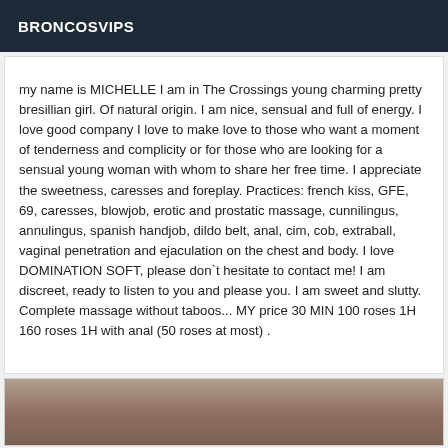BRONCOSVIPS
my name is MICHELLE I am in The Crossings young charming pretty bresillian girl. Of natural origin. I am nice, sensual and full of energy. I love good company I love to make love to those who want a moment of tenderness and complicity or for those who are looking for a sensual young woman with whom to share her free time. I appreciate the sweetness, caresses and foreplay. Practices: french kiss, GFE, 69, caresses, blowjob, erotic and prostatic massage, cunnilingus, annulingus, spanish handjob, dildo belt, anal, cim, cob, extraball, vaginal penetration and ejaculation on the chest and body. I love DOMINATION SOFT, please don`t hesitate to contact me! I am discreet, ready to listen to you and please you. I am sweet and slutty. Complete massage without taboos... MY price 30 MIN 100 roses 1H 160 roses 1H with anal (50 roses at most) .
[Figure (photo): Bottom portion of a photo, partially visible, showing a person]